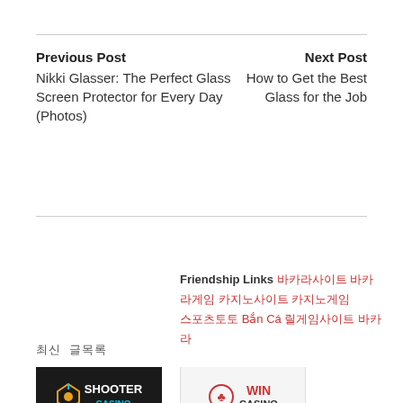Previous Post
Nikki Glasser: The Perfect Glass Screen Protector for Every Day (Photos)
Next Post
How to Get the Best Glass for the Job
Friendship Links  바카라사이트  바카라게임  카지노사이트  카지노게임  스포츠토토  Bắn Cá  릴게임사이트  바카라
최신 글목록
[Figure (logo): Shooter Casino logo: dark background with stylized figure icon and 'SHOOTER CASINO' text]
[Figure (logo): WIN CASINO logo: white/light background with red circular card suit icon and 'WIN CASINO' text in red]